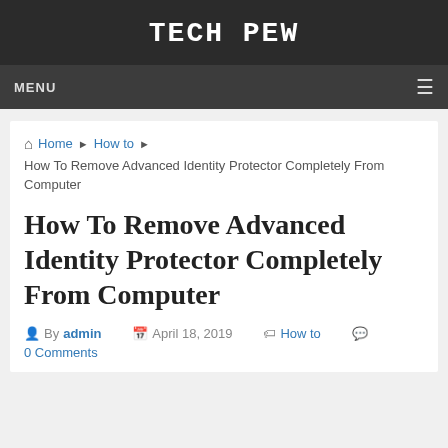TECH PEW
MENU
Home ▶ How to ▶ How To Remove Advanced Identity Protector Completely From Computer
How To Remove Advanced Identity Protector Completely From Computer
By admin   April 18, 2019   How to   0 Comments